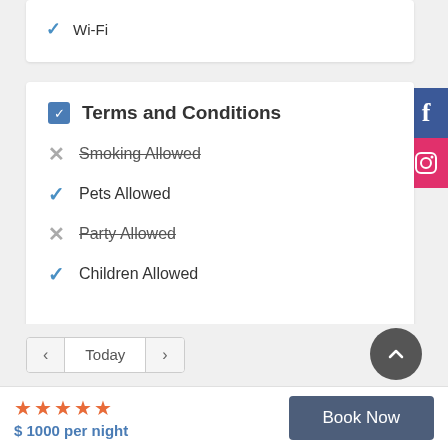Wi-Fi
Terms and Conditions
Smoking Allowed (crossed out)
Pets Allowed
Party Allowed (crossed out)
Children Allowed
$ 1000 per night
Book Now